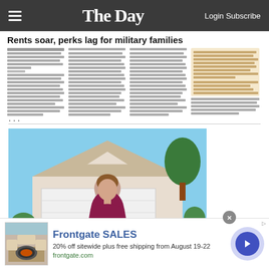The Day — Login Subscribe
Rents soar, perks lag for military families
[Figure (screenshot): Newspaper article preview with multi-column text and highlighted pullquote box]
...
[Figure (photo): Woman in maroon shirt standing in front of a house with a garage door]
[Figure (infographic): Frontgate SALES advertisement: 20% off sitewide plus free shipping from August 19-22, frontgate.com]